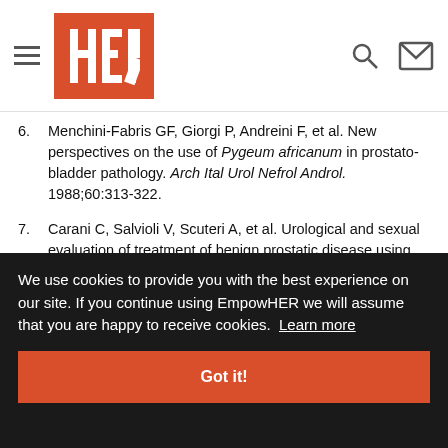HER
6. Menchini-Fabris GF, Giorgi P, Andreini F, et al. New perspectives on the use of Pygeum africanum in prostato-bladder pathology. Arch Ital Urol Nefrol Androl. 1988;60:313-322.
7. Carani C, Salvioli V, Scuteri A, et al. Urological and sexual evaluation of treatment of benign prostatic disease using Pygeum africanum at high doses. Arch Ital Urol Nefrol Androl. 1991;63:341-345.
8. Reissigl A, Pointner J, Marberger M, et al. Multicenter Austrian trial on safety and efficacy of phytotherapy in the treatment of chronic prostatitis/chronic pelvic pain syndrome. AUA... Presented April...
9. Elist J. Effects of pollen extract preparation...
We use cookies to provide you with the best experience on our site. If you continue using EmpowHER we will assume that you are happy to receive cookies. Learn more
Got it!